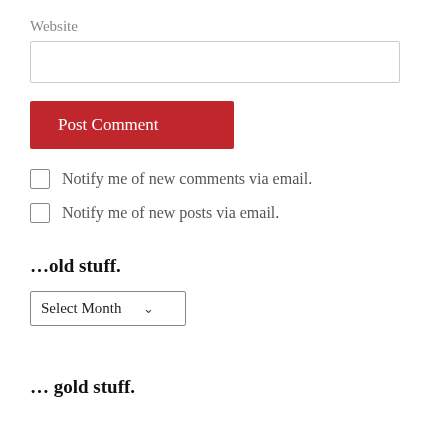Website
[Figure (other): Text input field for Website URL]
[Figure (other): Post Comment button (red background)]
Notify me of new comments via email.
Notify me of new posts via email.
…old stuff.
[Figure (other): Select Month dropdown]
… gold stuff.